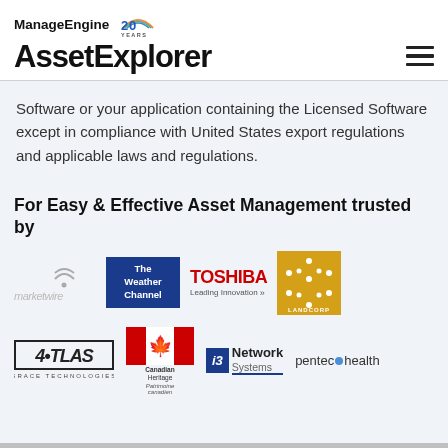ManageEngine AssetExplorer
Software or your application containing the Licensed Software except in compliance with United States export regulations and applicable laws and regulations.
For Easy & Effective Asset Management trusted by
[Figure (logo): Row of company logos: marketwire, The Weather Channel, TOSHIBA Leading Innovation, LANDCORP]
[Figure (logo): Row of company logos: ATLAS Grace Technologies, Canadian Heritage / Patrimoine canadien, i3 Network Systems, pentec health]